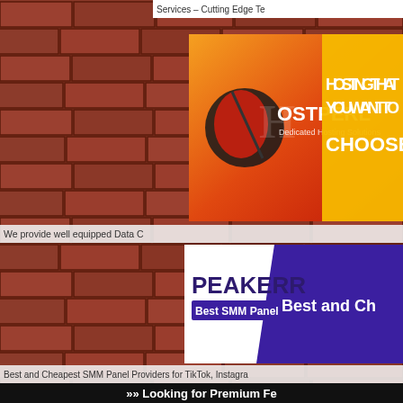Services – Cutting Edge Te
[Figure (screenshot): HostPerl Dedicated Hosting Solutions banner with orange-red gradient background and text: HOSTING THAT YOU WANT TO CHOOSE]
We provide well equipped Data C
[Figure (screenshot): Peakerr Best SMM Panel banner with white and purple sections, text: Best and Ch]
Best and Cheapest SMM Panel Providers for TikTok, Instagra
»» Looking for Premium Fe
A2Place.com / Automotive / Motorcycles / oxycodone without prescription online
[Figure (screenshot): Our Partners box with grey gradient background]
[Figure (screenshot): Oxycodone without prescription online - dark box with large italic text and website URL]